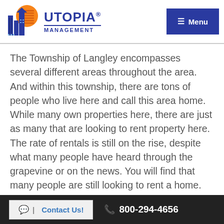Utopia Management — Menu
The Township of Langley encompasses several different areas throughout the area. And within this township, there are tons of people who live here and call this area home. While many own properties here, there are just as many that are looking to rent property here. The rate of rentals is still on the rise, despite what many people have heard through the grapevine or on the news. You will find that many people are still looking to rent a home. They want the freedom that comes with
Contact Us! | 800-294-4656